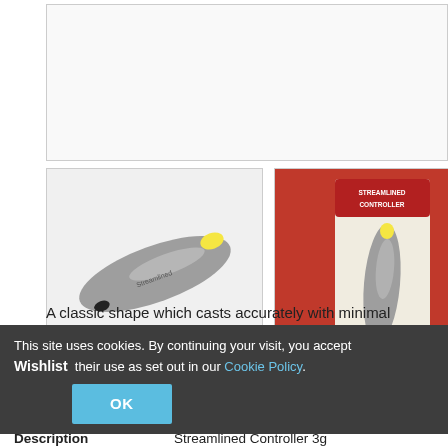[Figure (photo): Main product image area - large white/grey placeholder box for streamlined controller float]
[Figure (photo): Thumbnail 1: side view of streamlined controller float - grey torpedo-shaped float with yellow tip and dark point]
[Figure (photo): Thumbnail 2: packaging image for Streamlined Controller float on red background with product shown]
A classic shape which casts accurately with minimal splash. Perfect for summer stalking! Available in 5 sizes.
This site uses cookies. By continuing your visit, you accept their use as set out in our Cookie Policy.
Wishlist
Description   Streamlined Controller 3g
Part Code   FTSC00?